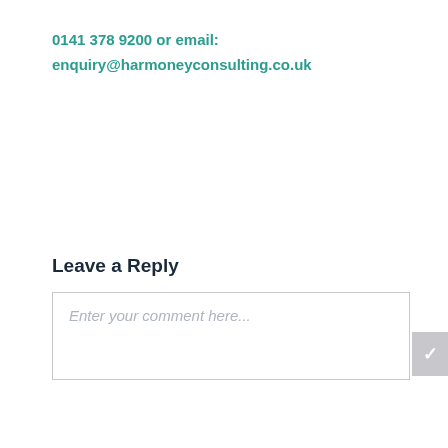0141 378 9200 or email: enquiry@harmoneyconsulting.co.uk
Leave a Reply
Enter your comment here...